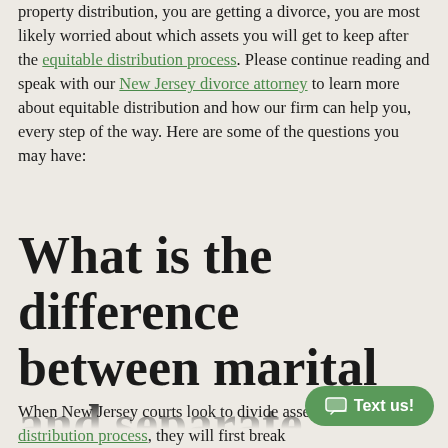property distribution, you are getting a divorce, you are most likely worried about which assets you will get to keep after the equitable distribution process. Please continue reading and speak with our New Jersey divorce attorney to learn more about equitable distribution and how our firm can help you, every step of the way. Here are some of the questions you may have:
What is the difference between marital and separate property in New Jersey?
When New Jersey courts look to divide assets in the equitable distribution process, they will first break